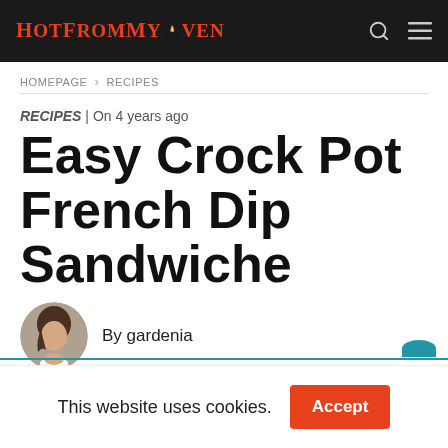HotFromMyOven
HOMEPAGE > RECIPES
RECIPES | On 4 years ago
Easy Crock Pot French Dip Sandwiche
By gardenia
This website uses cookies.
Accept